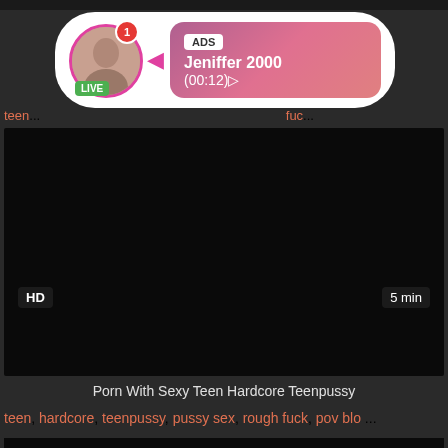[Figure (screenshot): Ad overlay with avatar showing a woman, LIVE badge, notification badge, pink arrow, and gradient pink ad box with ADS label, name Jeniffer 2000, and time (00:12)]
teen... fuc...
[Figure (screenshot): Dark/black video thumbnail with HD badge bottom left and 5 min duration badge bottom right]
Porn With Sexy Teen Hardcore Teenpussy
teen, hardcore, teenpussy, pussy sex, rough fuck, pov blo ...
[Figure (screenshot): Second dark/black video thumbnail partially visible at bottom]